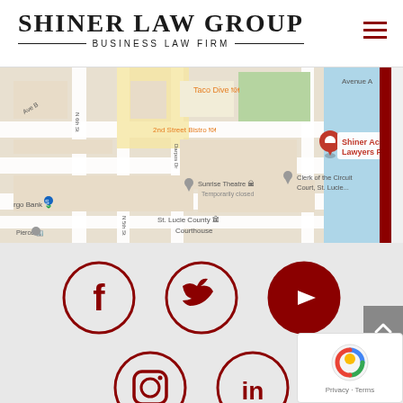[Figure (logo): Shiner Law Group - Business Law Firm logo with serif text and decorative lines]
[Figure (map): Google Maps screenshot showing Shiner Accident Lawyers Fort Pierce location near St. Lucie County Courthouse, 2nd Street Bistro, Sunrise Theatre, and Clerk of the Circuit Court]
[Figure (infographic): Social media icons in dark red circles: Facebook, Twitter, YouTube in top row; Instagram, LinkedIn in bottom row (partially visible)]